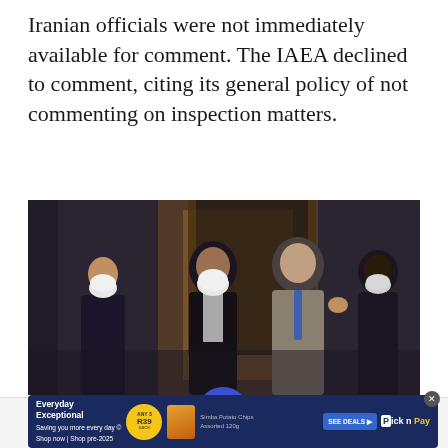Iranian officials were not immediately available for comment. The IAEA declined to comment, citing its general policy of not commenting on inspection matters.
[Figure (photo): Photo of several men in suits wearing white face masks outside what appears to be a hotel entrance. They appear to be greeting each other with an elbow bump gesture.]
[Figure (other): Mobile app toolbar with Twitter, Facebook, menu (blue circle with hamburger icon), bookmark, and email share icons]
[Figure (other): Pick n Pay advertisement banner showing 'Everyday Exceptional' text, ANY 3 R39 badge, Simba Potato Chips Assorted 120g, SEE DEALS button, and Pick n Pay logo]